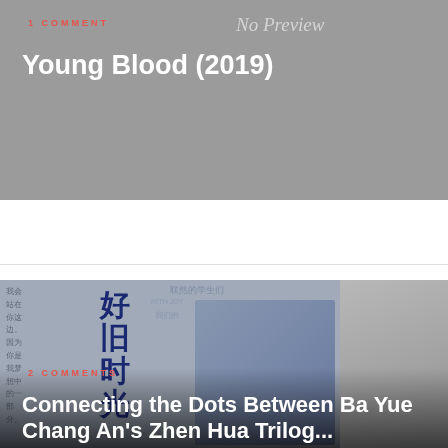[Figure (photo): Gray placeholder card with 'No Preview' text overlay for Young Blood (2019)]
1 COMMENT
No Preview
Young Blood (2019)
[Figure (photo): Collage of stills from Chinese drama — Chinese text poster on left, runners in school uniforms in center, young man and woman on right]
2 COMMENTS
Connecting the Dots Between Ba Yue Chang An's Zhen Hua Trilogy...